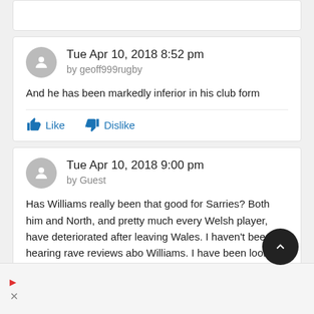Tue Apr 10, 2018 8:52 pm
by geoff999rugby
And he has been markedly inferior in his club form
Like  Dislike
Tue Apr 10, 2018 9:00 pm
by Guest
Has Williams really been that good for Sarries? Both him and North, and pretty much every Welsh player, have deteriorated after leaving Wales. I haven't been hearing rave reviews abo Williams. I have been looking of them, but admittedly I watc very little AP rugby so would be happy got hear if he's been